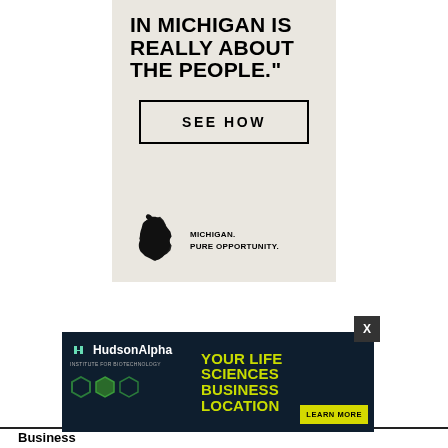[Figure (illustration): Michigan Pure Opportunity advertisement with bold headline 'IN MICHIGAN IS REALLY ABOUT THE PEOPLE.' on light gray background, a 'SEE HOW' button, and Michigan state silhouette logo with tagline 'MICHIGAN. PURE OPPORTUNITY.']
[Figure (illustration): HudsonAlpha Institute for Biotechnology advertisement with dark blue background, green/yellow headline 'YOUR LIFE SCIENCES BUSINESS LOCATION', LEARN MORE button, hexagonal decorative elements and scientist photo.]
Business